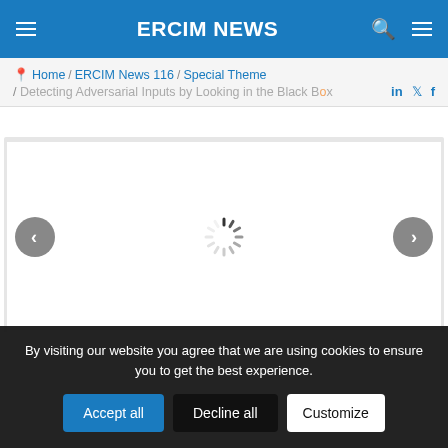ERCIM NEWS
Home / ERCIM News 116 / Special Theme / Detecting Adversarial Inputs by Looking in the Black Box
[Figure (screenshot): Slideshow area with loading spinner and left/right navigation arrows on a white background]
By visiting our website you agree that we are using cookies to ensure you to get the best experience.